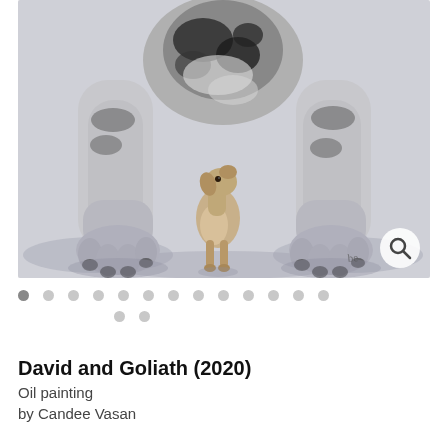[Figure (photo): Oil painting showing the legs and paws of a large Great Dane dog from below, with a small dog (chihuahua or similar) standing between the large dog's legs, looking up. The painting is in muted grey, black, and white tones with some warm tones on the small dog. A magnifying glass search icon appears in a white circle in the lower right of the image.]
David and Goliath (2020)
Oil painting
by Candee Vasan